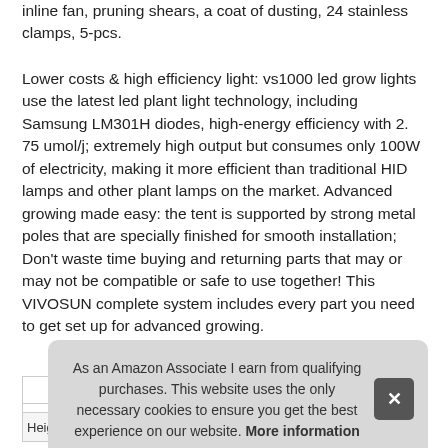inline fan, pruning shears, a coat of dusting, 24 stainless clamps, 5-pcs.
Lower costs & high efficiency light: vs1000 led grow lights use the latest led plant light technology, including Samsung LM301H diodes, high-energy efficiency with 2. 75 umol/j; extremely high output but consumes only 100W of electricity, making it more efficient than traditional HID lamps and other plant lamps on the market. Advanced growing made easy: the tent is supported by strong metal poles that are specially finished for smooth installation; Don't waste time buying and returning parts that may or may not be compatible or safe to use together! This VIVOSUN complete system includes every part you need to get set up for advanced growing.
As an Amazon Associate I earn from qualifying purchases. This website uses the only necessary cookies to ensure you get the best experience on our website. More information